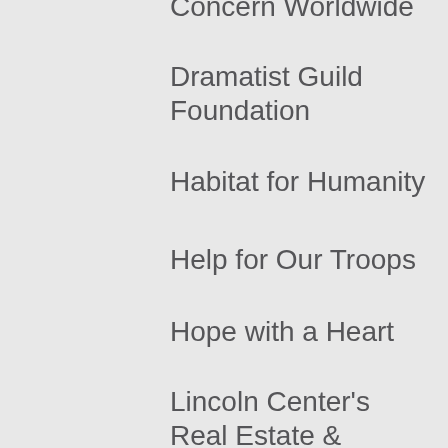Concern Worldwide
Dramatist Guild Foundation
Habitat for Humanity
Help for Our Troops
Hope with a Heart
Lincoln Center's Real Estate & Construction Council
March of Dimes